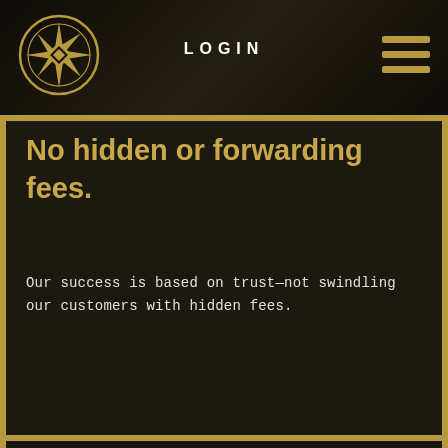[Figure (logo): Circular gold geometric star/compass logo with dark background]
LOGIN
No hidden or forwarding fees.
Our success is based on trust—not swindling our customers with hidden fees.
[Figure (illustration): Double chevron/arrow down icon in white]
Entity management software.
Our entity management software is